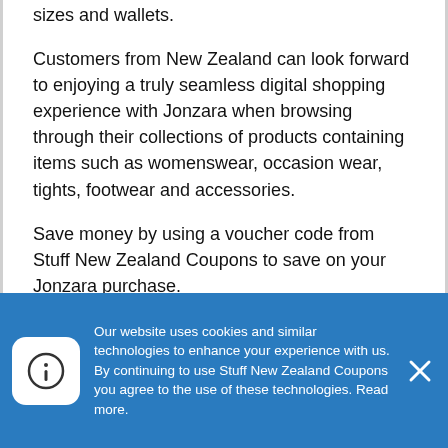sizes and wallets.
Customers from New Zealand can look forward to enjoying a truly seamless digital shopping experience with Jonzara when browsing through their collections of products containing items such as womenswear, occasion wear, tights, footwear and accessories.
Save money by using a voucher code from Stuff New Zealand Coupons to save on your Jonzara purchase.
Here at Stuff New Zealand Coupons we search and collect all the latest money-saving coupon codes, promotional codes, discount codes and deals for you so you can find...
Our website uses cookies and similar technologies to enhance your experience with us. By continuing to use Stuff New Zealand Coupons you agree to the use of these technologies. Read more.